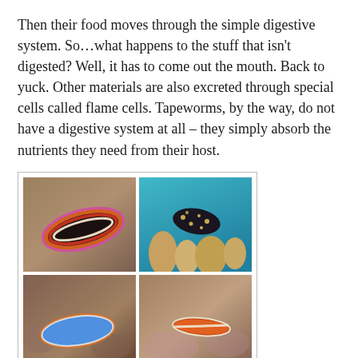Then their food moves through the simple digestive system. So…what happens to the stuff that isn't digested? Well, it has to come out the mouth. Back to yuck. Other materials are also excreted through special cells called flame cells. Tapeworms, by the way, do not have a digestive system at all – they simply absorb the nutrients they need from their host.
[Figure (photo): A 2x2 grid of four photographs of flatworms/nudibranchs: top-left shows a black flatworm with red/orange/white stripes on sandy ground; top-right shows a dark spotted flatworm on coral; bottom-left shows a blue flatworm on rocky substrate; bottom-right shows an orange/white striped flatworm on rocky substrate.]
Another interesting aspect of flatworms? Some species